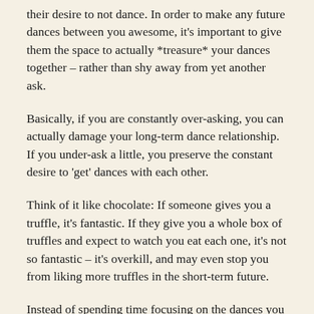their desire to not dance. In order to make any future dances between you awesome, it's important to give them the space to actually *treasure* your dances together – rather than shy away from yet another ask.
Basically, if you are constantly over-asking, you can actually damage your long-term dance relationship. If you under-ask a little, you preserve the constant desire to 'get' dances with each other.
Think of it like chocolate: If someone gives you a truffle, it's fantastic. If they give you a whole box of truffles and expect to watch you eat each one, it's not so fantastic – it's overkill, and may even stop you from liking more truffles in the short-term future.
Instead of spending time focusing on the dances you didn't get, put your focus somewhere else. Find someone else to dance with. Have a conversation